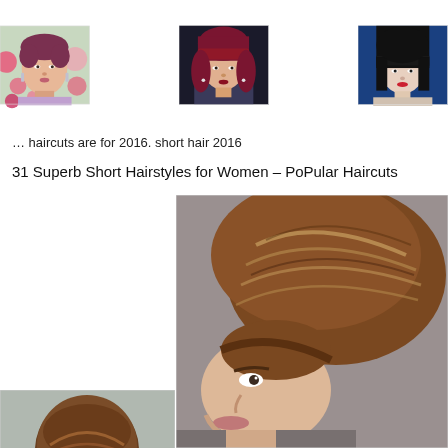[Figure (photo): Grid of three women with short hairstyles: left - woman with very short pixie cut purple hair at colorful event; center - woman with short dark red/burgundy bob and bangs; right - woman with sleek black chin-length bob on blue background]
… haircuts are for 2016. short hair 2016
31 Superb Short Hairstyles for Women – PoPular Haircuts
[Figure (photo): Back view of woman with short brown layered bob haircut]
[Figure (photo): Side/back view of woman with short brown bowl-cut style hair]
[Figure (photo): Close-up side profile of woman with short brown layered pixie/bob haircut with highlights]